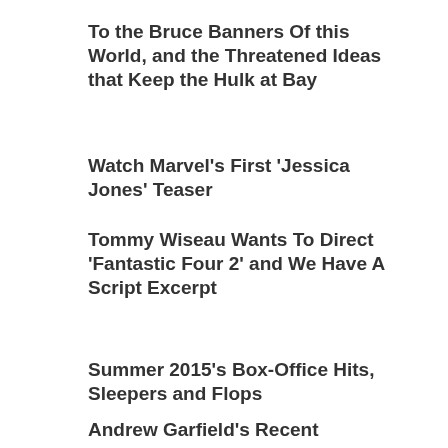To the Bruce Banners Of this World, and the Threatened Ideas that Keep the Hulk at Bay
Watch Marvel's First 'Jessica Jones' Teaser
Tommy Wiseau Wants To Direct 'Fantastic Four 2' and We Have A Script Excerpt
Summer 2015's Box-Office Hits, Sleepers and Flops
Andrew Garfield's Recent